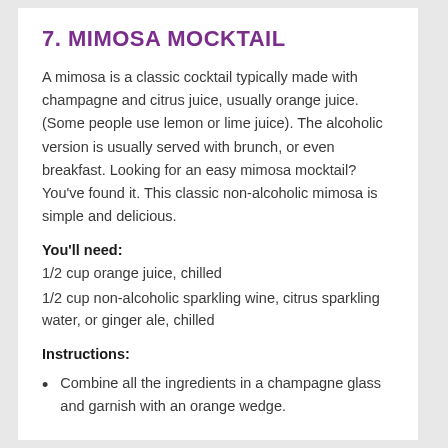7. MIMOSA MOCKTAIL
A mimosa is a classic cocktail typically made with champagne and citrus juice, usually orange juice. (Some people use lemon or lime juice). The alcoholic version is usually served with brunch, or even breakfast. Looking for an easy mimosa mocktail? You've found it. This classic non-alcoholic mimosa is simple and delicious.
You'll need:
1/2 cup orange juice, chilled
1/2 cup non-alcoholic sparkling wine, citrus sparkling water, or ginger ale, chilled
Instructions:
Combine all the ingredients in a champagne glass and garnish with an orange wedge.